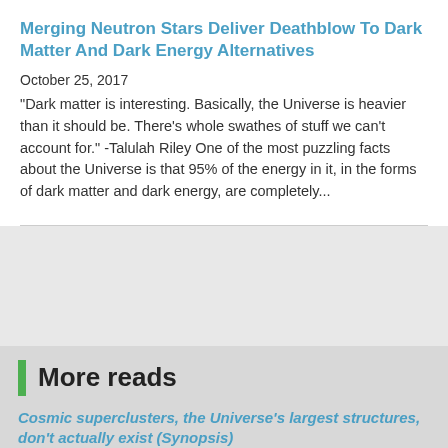Merging Neutron Stars Deliver Deathblow To Dark Matter And Dark Energy Alternatives
October 25, 2017
"Dark matter is interesting. Basically, the Universe is heavier than it should be. There's whole swathes of stuff we can't account for." -Talulah Riley One of the most puzzling facts about the Universe is that 95% of the energy in it, in the forms of dark matter and dark energy, are completely...
More reads
Cosmic superclusters, the Universe's largest structures, don't actually exist (Synopsis)
[Figure (photo): Thumbnail image related to cosmic superclusters article, showing a cluster of galaxies or cosmic structure]
"It's the gravity that shapes the large scale structure of the universe, even though it is the weakest of four categories of forces." -Stephen